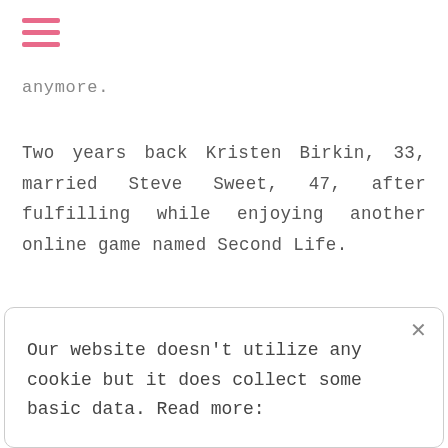[Figure (other): Pink hamburger menu icon with three horizontal lines]
anymore.
Two years back Kristen Birkin, 33, married Steve Sweet, 47, after fulfilling while enjoying another online game named Second Life.
Our website doesn't utilize any cookie but it does collect some basic data. Read more: